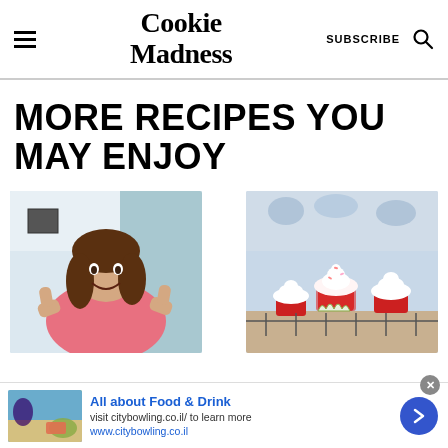Cookie Madness | SUBSCRIBE
MORE RECIPES YOU MAY ENJOY
[Figure (photo): Young girl giving two thumbs up in a kitchen]
[Figure (photo): Red velvet cupcakes with white frosting and pink sprinkles on a cooling rack]
All about Food & Drink
visit citybowling.co.il/ to learn more
www.citybowling.co.il